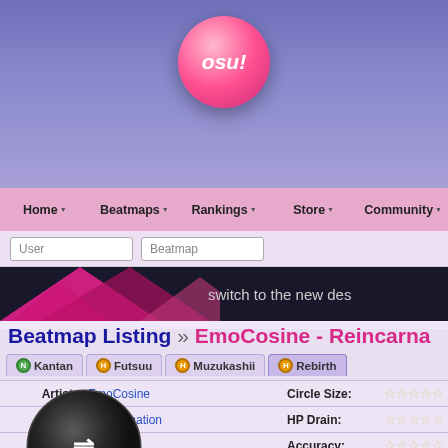[Figure (screenshot): osu! logo pink circle with 'osu!' text on purple gradient header background]
Home  Beatmaps  Rankings  Store  Community
User  Beatmap  (search inputs)
[Figure (illustration): Dark banner with pink triangles and 'switch to the new des' text]
Beatmap Listing » EmoCosine - Reincarna
N Kantan  H Futsuu  H Muzukashii  H Rebirth (difficulty tabs, Rebirth active)
| Field | Value | Field | Value |
| --- | --- | --- | --- |
| Artist: | EmoCosine | Circle Size: | ★★☆☆☆ |
| Title: | Reincarnation | HP Drain: | ★★★★☆ |
| Creator: | Rycy | Accuracy: | ★★★★☆ |
| Source: | Deemo | Genre: | Video Game |
| Tags: | emoco. featured artist fa piano rhythm video game instrumental waltz rayark inc. | User Rating: | 1 | 11 |
| Submitted: | Mar 28, 2022 | Rating Spread: |  |
| Ranked: | May 4, 2022 |  |  |
[Figure (illustration): Circular spinner/loading wheel icon with yellow arc and white arrows, dark background]